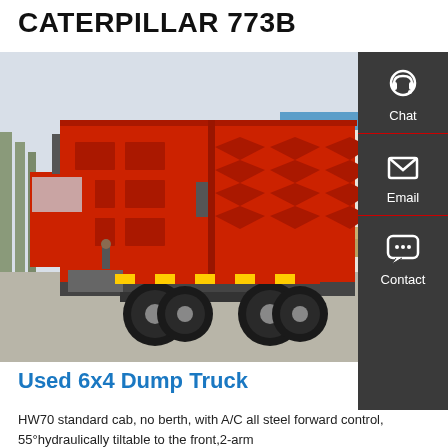CATERPILLAR 773B
[Figure (photo): Red 6x4 heavy dump truck photographed from the rear-left angle in an outdoor industrial yard. The truck has a large red metal dump body with diamond/chevron pattern reinforcements. The cab is red, visible on the left side. Large dual rear tires are visible. Background shows trees, a building with blue roof, and pallets.]
Used 6x4 Dump Truck
HW70 standard cab, no berth, with A/C all steel forward control, 55°hydraulically tiltable to the front,2-arm